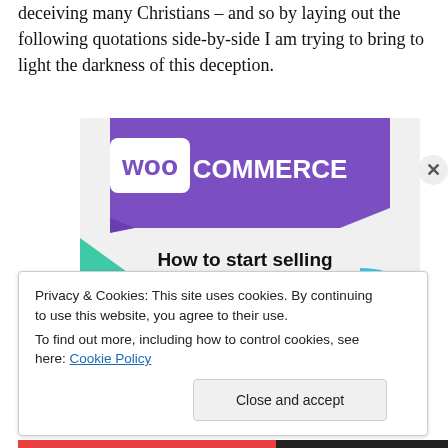deceiving many Christians – and so by laying out the following quotations side-by-side I am trying to bring to light the darkness of this deception.
[Figure (screenshot): WooCommerce advertisement screenshot showing the WooCommerce logo on a purple banner with decorative teal and blue shapes, and the text 'How to start selling subscriptions online']
Privacy & Cookies: This site uses cookies. By continuing to use this website, you agree to their use.
To find out more, including how to control cookies, see here: Cookie Policy
Close and accept